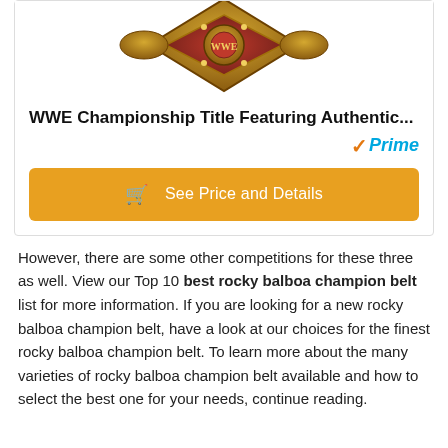[Figure (photo): Partial view of a WWE Championship title belt product image, showing the decorative top portion of the belt against a white background.]
WWE Championship Title Featuring Authentic...
Prime
See Price and Details
However, there are some other competitions for these three as well. View our Top 10 best rocky balboa champion belt list for more information. If you are looking for a new rocky balboa champion belt, have a look at our choices for the finest rocky balboa champion belt. To learn more about the many varieties of rocky balboa champion belt available and how to select the best one for your needs, continue reading.